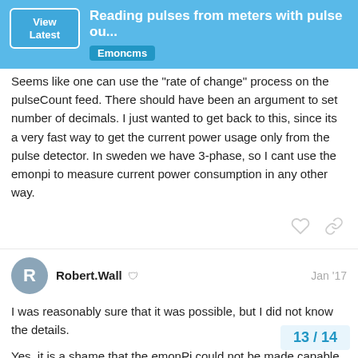Reading pulses from meters with pulse ou... | Emoncms
Seems like one can use the "rate of change" process on the pulseCount feed. There should have been an argument to set number of decimals. I just wanted to get back to this, since its a very fast way to get the current power usage only from the pulse detector. In sweden we have 3-phase, so I cant use the emonpi to measure current power consumption in any other way.
Robert.Wall   Jan '17
I was reasonably sure that it was possible, but I did not know the details.

Yes, it is a shame that the emonPi could not be made capable of 3-phase, 4-wire use, but there was space only for two jack sockets in the box, and to use any other co... introduced major compatibility problems.
13 / 14